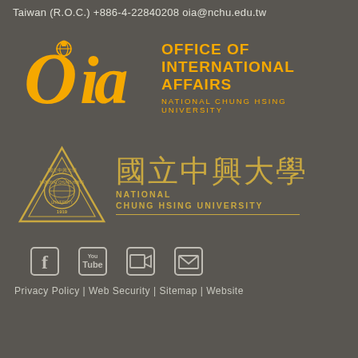Taiwan (R.O.C.) +886-4-22840208 oia@nchu.edu.tw
[Figure (logo): OIA - Office of International Affairs, National Chung Hsing University logo in orange on dark grey background]
[Figure (logo): National Chung Hsing University logo with triangle emblem and Chinese characters 國立中興大學 in gold on dark grey background]
[Figure (other): Social media icons: Facebook, YouTube, video, email on dark grey background]
Privacy Policy | Web Security | Sitemap | Website